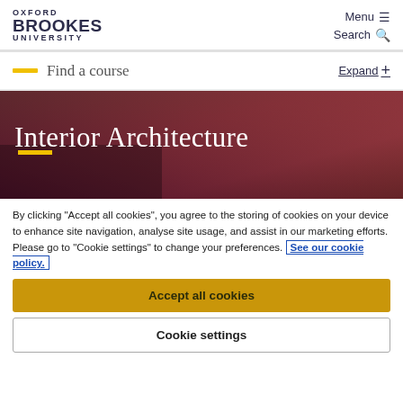OXFORD BROOKES UNIVERSITY | Menu ≡ | Search 🔍
Find a course | Expand +
[Figure (photo): Dark purple/maroon gradient hero banner with 'Interior Architecture' title in white serif font and a small yellow horizontal bar below the text]
Interior Architecture
By clicking "Accept all cookies", you agree to the storing of cookies on your device to enhance site navigation, analyse site usage, and assist in our marketing efforts. Please go to "Cookie settings" to change your preferences. See our cookie policy.
Accept all cookies
Cookie settings